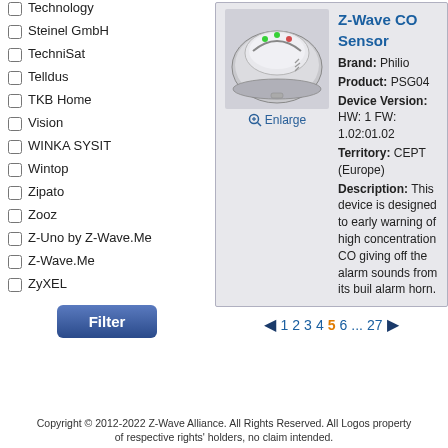Technology
Steinel GmbH
TechniSat
Telldus
TKB Home
Vision
WINKA SYSIT
Wintop
Zipato
Zooz
Z-Uno by Z-Wave.Me
Z-Wave.Me
ZyXEL
Z-Wave CO Sensor
Brand: Philio
Product: PSG04
Device Version: HW: 1 FW: 1.02:01.02
Territory: CEPT (Europe)
Description: This device is designed to early warning of high concentration CO giving off the alarm sounds from its build alarm horn.
[Figure (photo): Product photo of Z-Wave CO Sensor device, circular white/grey device with indicator lights on top]
1 2 3 4 5 6 ... 27
Copyright © 2012-2022 Z-Wave Alliance. All Rights Reserved. All Logos property of respective rights' holders, no claim intended.